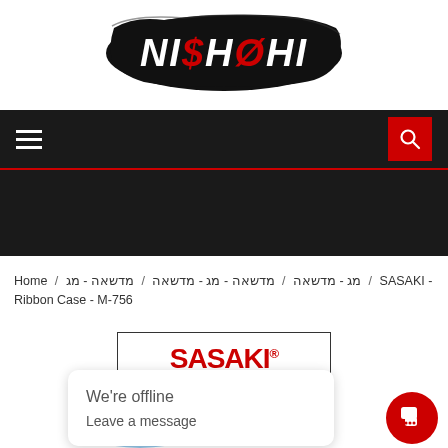[Figure (logo): Nishohi brand logo — white grunge/brush stroke background with stylized text NI$H0HI in white on black brushstroke]
[Figure (screenshot): Dark navigation bar with hamburger menu icon on left and red search button with magnifying glass on right, with red underline]
[Figure (photo): Dark black banner/hero area]
Home / מג - מדשאה / מדשאה - מג - מדשאה / מדשאה - מג / SASAKI - Ribbon Case - M-756
[Figure (photo): Product image showing SASAKI M-756 Ribbon Case in a bordered white box with SASAKI red logo and model number, with ribbon visible below]
We're offline
Leave a message